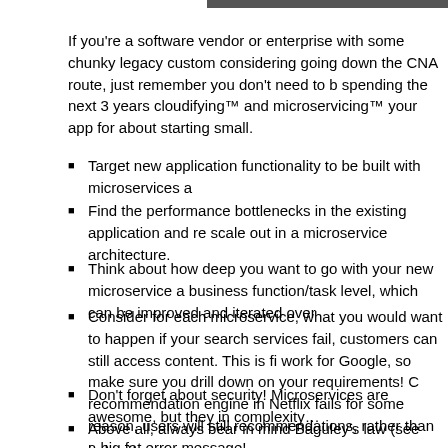[Figure (photo): Partial image visible at top right of page]
If you're a software vendor or enterprise with some chunky legacy custom considering going down the CNA route, just remember you don't need to b spending the next 3 years cloudifying™ and microservicing™ your app for about starting small.
Target new application functionality to be built with microservices a
Find the performance bottlenecks in the existing application and re scale out in a microservice architecture.
Think about how deep you want to go with your new microservice a business function/task level, which can be improved and iterated over
Consider for each microservice, what you would want to happen if your search services fail, customers can still access content. This is fi work for Google, so make sure you drill down on your requirements! C recommendation engine in Netflix fails for some reason, users will still recommendations, rather than a big fat error message!
Don't forget about security! Microservices are awesome, but they in complexity…
Above all, always bear in mind Baguley's law (see below)!
For those customers wanting to scale beyond the 10k container limit impos be an option too, though I have a sneaking suspicion that customers of tha